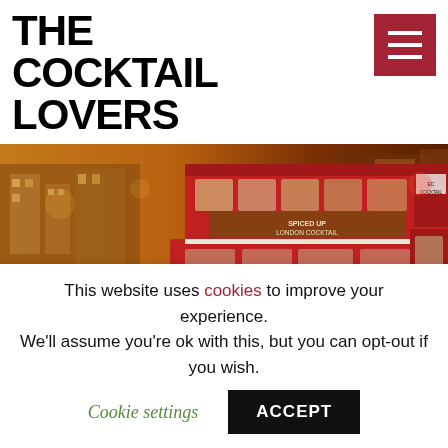THE COCKTAIL LOVERS
[Figure (photo): A red double-decker London bus on a city street with motion blur of light trails. The bus has an advertisement reading 'Spiced Up London Cocktail Week'. Background shows urban buildings lit in warm amber tones.]
Win wristbands for London
This website uses cookies to improve your experience. We'll assume you're ok with this, but you can opt-out if you wish. Cookie settings ACCEPT